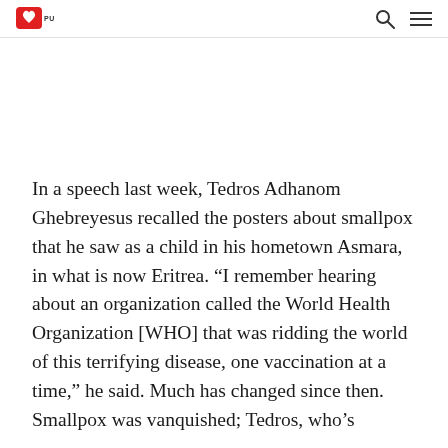NEWS PUNCH [logo and navigation icons]
In a speech last week, Tedros Adhanom Ghebreyesus recalled the posters about smallpox that he saw as a child in his hometown Asmara, in what is now Eritrea. “I remember hearing about an organization called the World Health Organization [WHO] that was ridding the world of this terrifying disease, one vaccination at a time,” he said. Much has changed since then. Smallpox was vanquished; Tedros, who’s